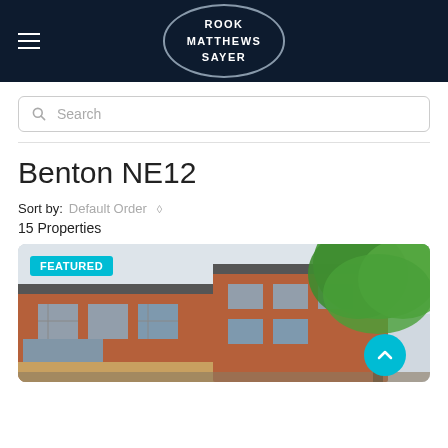[Figure (logo): Rook Matthews Sayer logo in white text inside an oval border on dark navy background, with hamburger menu icon on left]
Search
Benton NE12
Sort by: Default Order
15 Properties
[Figure (photo): Red brick apartment building with large glass windows and green tree foliage on the right, with a FEATURED badge overlay in teal]